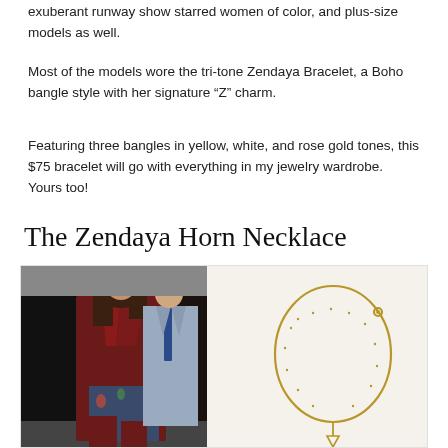exuberant runway show starred women of color, and plus-size models as well.
Most of the models wore the tri-tone Zendaya Bracelet, a Boho bangle style with her signature “Z” charm.
Featuring three bangles in yellow, white, and rose gold tones, this $75 bracelet will go with everything in my jewelry wardrobe. Yours too!
The Zendaya Horn Necklace
[Figure (photo): Left side: photo of Zendaya walking in a dark red leather coat with a man in a grey suit. Right side: product photo of a gold horn necklace on light background.]